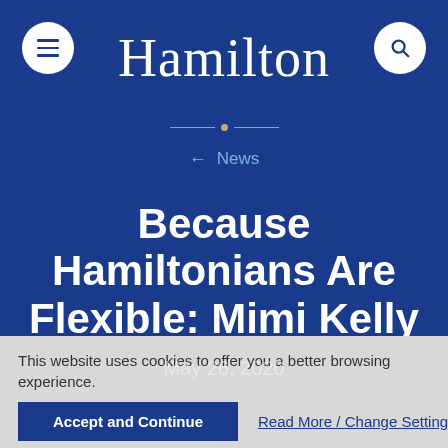Hamilton
← News
Because Hamiltonians Are Flexible: Mimi Kelly Csatlos '00
May 26, 2020
This website uses cookies to offer you a better browsing experience.
Accept and Continue
Read More / Change Settings